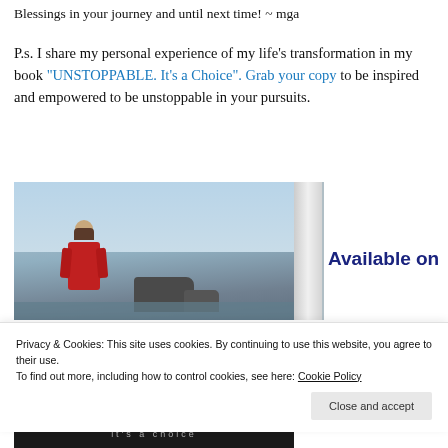Blessings in your journey and until next time! ~ mga
P.s. I share my personal experience of my life's transformation in my book "UNSTOPPABLE. It's a Choice". Grab your copy to be inspired and empowered to be unstoppable in your pursuits.
[Figure (photo): Book cover photo showing a woman in a red jacket standing outdoors near rocky coastal scenery with ocean in the background. Partial book spine visible. Text 'Available on' appears to the right.]
it's a choice
Privacy & Cookies: This site uses cookies. By continuing to use this website, you agree to their use.
To find out more, including how to control cookies, see here: Cookie Policy
Close and accept